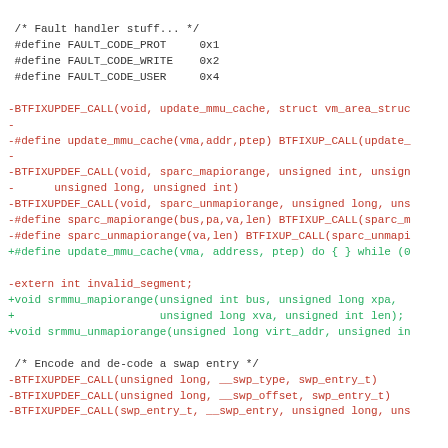/* Fault handler stuff... */
#define FAULT_CODE_PROT     0x1
#define FAULT_CODE_WRITE    0x2
#define FAULT_CODE_USER     0x4

-BTFIXUPDEF_CALL(void, update_mmu_cache, struct vm_area_struc
-
-#define update_mmu_cache(vma,addr,ptep) BTFIXUP_CALL(update_
-
-BTFIXUPDEF_CALL(void, sparc_mapiorange, unsigned int, unsign
-      unsigned long, unsigned int)
-BTFIXUPDEF_CALL(void, sparc_unmapiorange, unsigned long, uns
-#define sparc_mapiorange(bus,pa,va,len) BTFIXUP_CALL(sparc_m
-#define sparc_unmapiorange(va,len) BTFIXUP_CALL(sparc_unmapi
+#define update_mmu_cache(vma, address, ptep) do { } while (0

-extern int invalid_segment;
+void srmmu_mapiorange(unsigned int bus, unsigned long xpa,
+                      unsigned long xva, unsigned int len);
+void srmmu_unmapiorange(unsigned long virt_addr, unsigned in

 /* Encode and de-code a swap entry */
-BTFIXUPDEF_CALL(unsigned long, __swp_type, swp_entry_t)
-BTFIXUPDEF_CALL(unsigned long, __swp_offset, swp_entry_t)
-BTFIXUPDEF_CALL(swp_entry_t, __swp_entry, unsigned long, uns